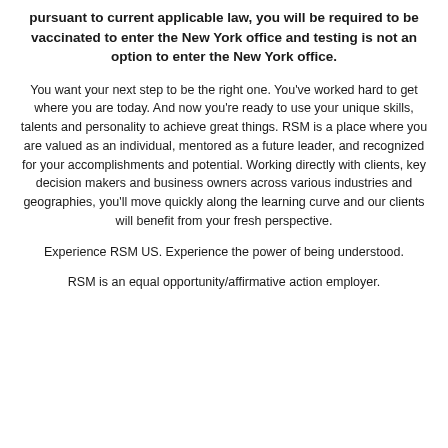pursuant to current applicable law, you will be required to be vaccinated to enter the New York office and testing is not an option to enter the New York office.
You want your next step to be the right one. You've worked hard to get where you are today. And now you're ready to use your unique skills, talents and personality to achieve great things. RSM is a place where you are valued as an individual, mentored as a future leader, and recognized for your accomplishments and potential. Working directly with clients, key decision makers and business owners across various industries and geographies, you'll move quickly along the learning curve and our clients will benefit from your fresh perspective.
Experience RSM US. Experience the power of being understood.
RSM is an equal opportunity/affirmative action employer.